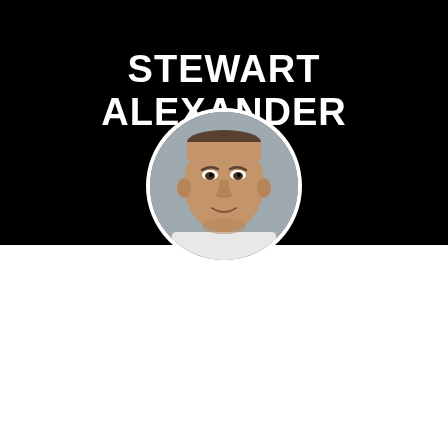STEWART ALEXANDER
[Figure (photo): Circular portrait photo of Stewart Alexander, a middle-aged man with short hair, against a grey background, displayed on a black banner.]